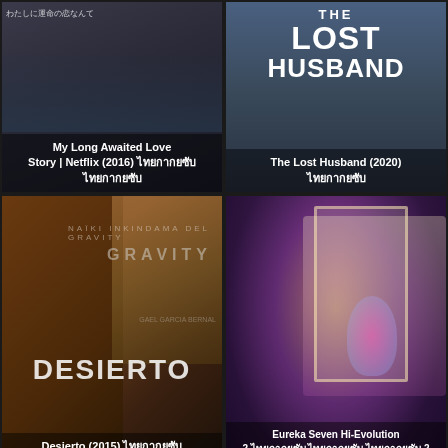[Figure (photo): Movie poster thumbnail: My Long Awaited Love Story | Netflix (2016) with Japanese text, dark scene]
[Figure (photo): Movie poster thumbnail: The Lost Husband (2020) with Thai text]
[Figure (photo): Movie poster thumbnail: Desierto (2015) with Gravity text overlay and Thai text]
[Figure (photo): Movie poster thumbnail: Eureka Seven Hi-Evolution 2 (2018) with Thai text, animated colorful scene]
[Figure (photo): Movie poster thumbnail: Korean romance movie with Korean text 티끌모아 로맨스]
[Figure (photo): Movie poster thumbnail: Action movie with man screaming, partial text Nu visible]